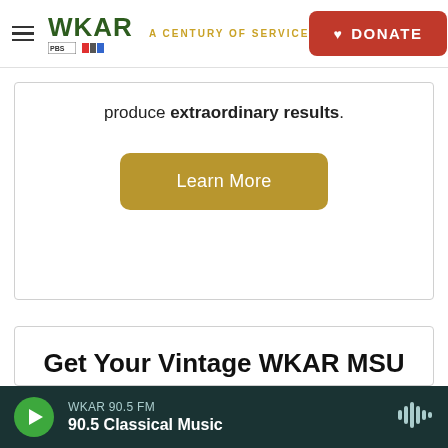WKAR A CENTURY OF SERVICE | DONATE
produce extraordinary results.
Learn More
Get Your Vintage WKAR MSU Football T-shirt
Celebrate WKAR's 100th Anniversary with our vintage T-shirt.
DONATE
WKAR 90.5 FM | 90.5 Classical Music